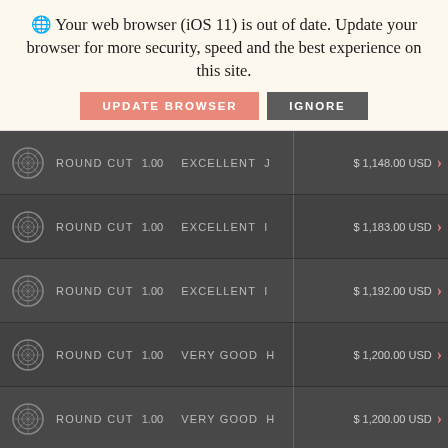🌐 Your web browser (iOS 11) is out of date. Update your browser for more security, speed and the best experience on this site.
UPDATE BROWSER | IGNORE
| Icon | Cut | Carat | Quality | Color | Price |
| --- | --- | --- | --- | --- | --- |
| diamond | ROUND CUT | 1.00 | EXCELLENT | J | $1,148.00 USD |
| diamond | ROUND CUT | 1.00 | EXCELLENT | I | $1,183.00 USD |
| diamond | ROUND CUT | 1.00 | EXCELLENT | I | $1,192.00 USD |
| diamond | ROUND CUT | 1.00 | VERY GOOD | H | $1,200.00 USD |
| diamond | ROUND CUT | 1.00 | VERY GOOD | H | $1,200.00 USD |